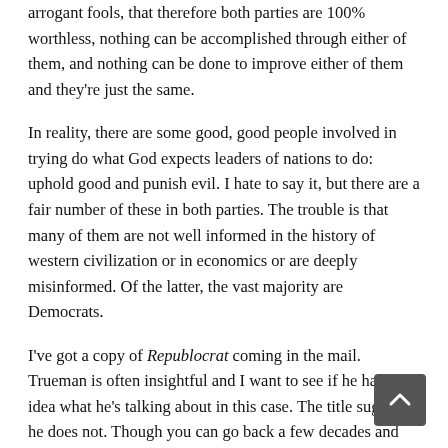arrogant fools, that therefore both parties are 100% worthless, nothing can be accomplished through either of them, and nothing can be done to improve either of them and they're just the same.
In reality, there are some good, good people involved in trying do what God expects leaders of nations to do: uphold good and punish evil. I hate to say it, but there are a fair number of these in both parties. The trouble is that many of them are not well informed in the history of western civilization or in economics or are deeply misinformed. Of the latter, the vast majority are Democrats.
I've got a copy of Republocrat coming in the mail. Trueman is often insightful and I want to see if he has any idea what he's talking about in this case. The title suggests he does not. Though you can go back a few decades and find a time when the Democratic party had many constituents who had agrarian-conservative sensibilities and some good instincts for curbing the abuses of industrialism, that time is long